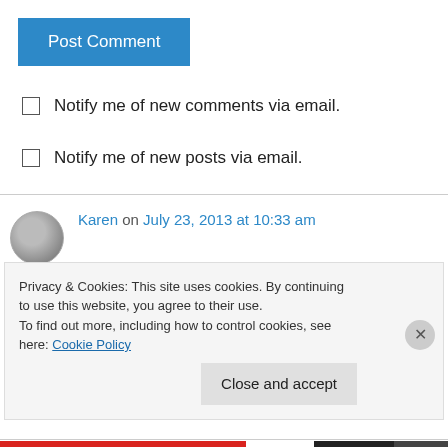[Figure (other): Blue 'Post Comment' button]
Notify me of new comments via email.
Notify me of new posts via email.
Karen on July 23, 2013 at 10:33 am
The scaffolding on the Washington Monument really is quite attractive!
Privacy & Cookies: This site uses cookies. By continuing to use this website, you agree to their use.
To find out more, including how to control cookies, see here: Cookie Policy